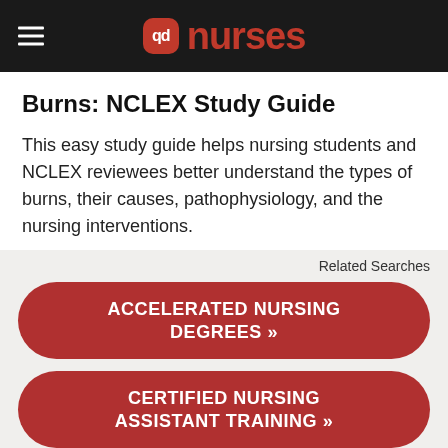qd nurses
Burns: NCLEX Study Guide
This easy study guide helps nursing students and NCLEX reviewees better understand the types of burns, their causes, pathophysiology, and the nursing interventions.
Related Searches
ACCELERATED NURSING DEGREES »
CERTIFIED NURSING ASSISTANT TRAINING »